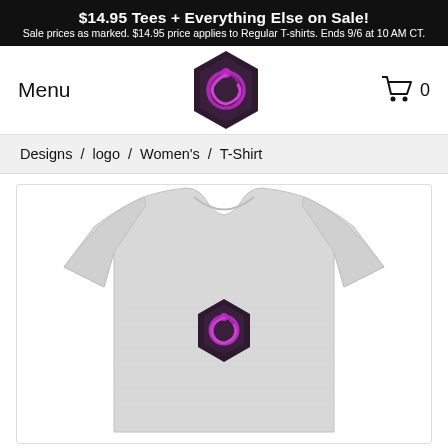$14.95 Tees + Everything Else on Sale! Sale prices as marked. $14.95 price applies to Regular T-shirts. Ends 9/6 at 10 AM CT.
Menu
[Figure (logo): Dark purple hexagon logo with pink/purple dragon/snake circular design inside]
0
Designs  /  logo  /  Women's  /  T-Shirt
[Figure (photo): Heather grey women's fitted t-shirt with dark purple hexagon logo printed on chest]